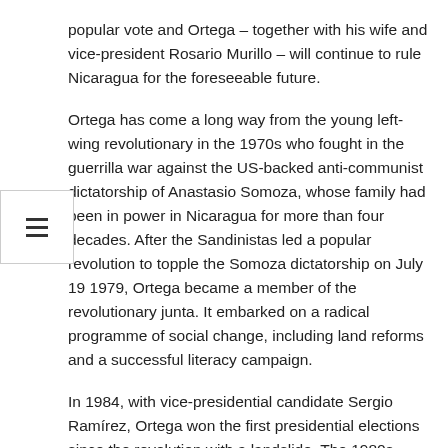popular vote and Ortega – together with his wife and vice-president Rosario Murillo – will continue to rule Nicaragua for the foreseeable future.
Ortega has come a long way from the young left-wing revolutionary in the 1970s who fought in the guerrilla war against the US-backed anti-communist dictatorship of Anastasio Somoza, whose family had been in power in Nicaragua for more than four decades. After the Sandinistas led a popular revolution to topple the Somoza dictatorship on July 19 1979, Ortega became a member of the revolutionary junta. It embarked on a radical programme of social change, including land reforms and a successful literacy campaign.
In 1984, with vice-presidential candidate Sergio Ramírez, Ortega won the first presidential elections since the revolution with a landslide. The 1980s were a